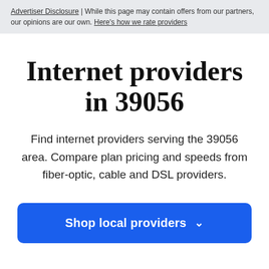Advertiser Disclosure | While this page may contain offers from our partners, our opinions are our own. Here's how we rate providers
Internet providers in 39056
Find internet providers serving the 39056 area. Compare plan pricing and speeds from fiber-optic, cable and DSL providers.
Shop local providers ∨